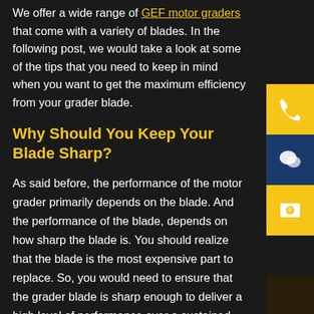We offer a wide range of GEF motor graders that come with a variety of blades. In the following post, we would take a look at some of the tips that you need to keep in mind when you want to get the maximum efficiency from your grader blade.
Why Should You Keep Your Blade Sharp?
As said before, the performance of the motor grader primarily depends on the blade. And the performance of the blade, depends on how sharp the blade is. You should realize that the blade is the most expensive part to replace. So, you would need to ensure that the grader blade is sharp enough to deliver a high level of performance over a sustained period of time.
[Figure (infographic): Three side-panel icon buttons: phone (yellow background), chat bubble (dark blue background), email/envelope (yellow background)]